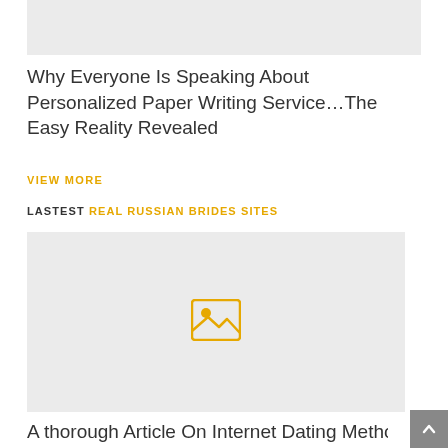[Figure (other): Gray placeholder image block at top]
Why Everyone Is Speaking About Personalized Paper Writing Service…The Easy Reality Revealed
VIEW MORE
LASTEST REAL RUSSIAN BRIDES SITES
[Figure (other): Gray placeholder image block with image icon in center]
A thorough Article On Internet Dating Methods For